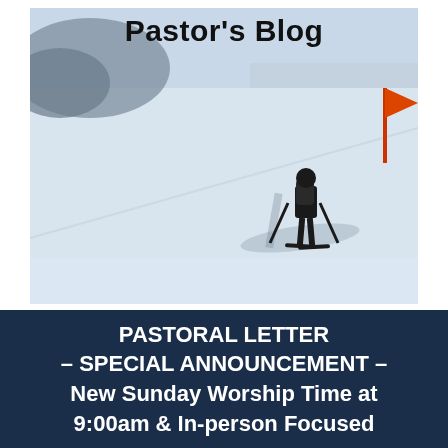Pastor's Blog
[Figure (photo): A person cross-country skiing on a snowy landscape with ski poles. An orange flag is visible in the background on the right. The snow scene has a pale blue-white tone with shadows cast by the skier.]
PASTORAL LETTER – SPECIAL ANNOUNCEMENT – New Sunday Worship Time at 9:00am & In-person Focused